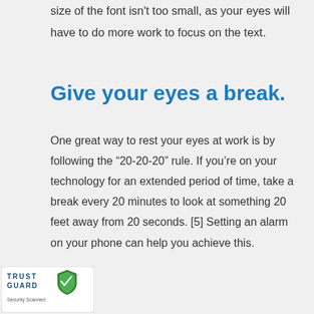size of the font isn't too small, as your eyes will have to do more work to focus on the text.
Give your eyes a break.
One great way to rest your eyes at work is by following the “20-20-20” rule. If you’re on your technology for an extended period of time, take a break every 20 minutes to look at something 20 feet away from 20 seconds. [5] Setting an alarm on your phone can help you achieve this.
[Figure (logo): TrustGuard Security Scanned badge with shield logo]